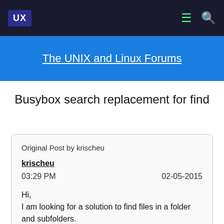UX | navigation icons
The UNIX and Linux Forums
Busybox search replacement for find
Original Post by krischeu
krischeu
03:29 PM  02-05-2015
Hi,
I am looking for a solution to find files in a folder and subfolders.